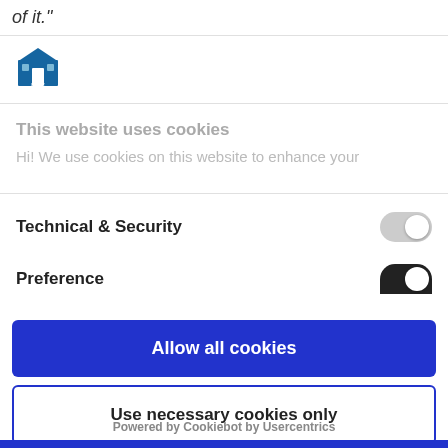of it."
[Figure (logo): LSAC logo - building icon with LSAC text]
This website uses cookies
Hi! We use cookies on this website to enhance your
Technical & Security
Preference
Allow all cookies
Use necessary cookies only
Powered by Cookiebot by Usercentrics